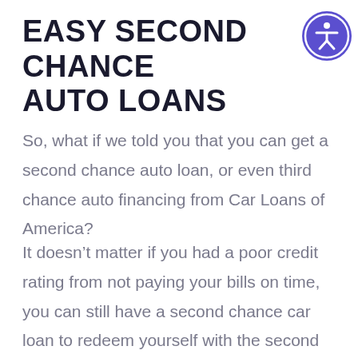EASY SECOND CHANCE AUTO LOANS
So, what if we told you that you can get a second chance auto loan, or even third chance auto financing from Car Loans of America?
It doesn’t matter if you had a poor credit rating from not paying your bills on time, you can still have a second chance car loan to redeem yourself with the second chance financing from